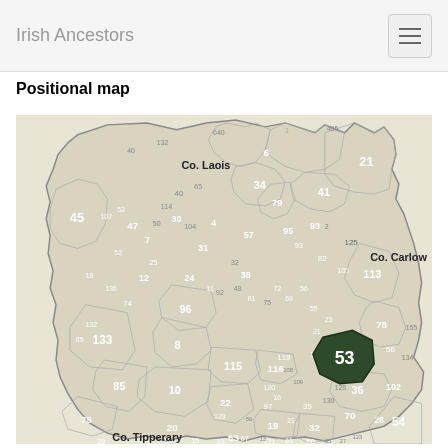Irish Ancestors
Positional map
[Figure (map): Positional map of an Irish county (likely Co. Kilkenny) showing numbered townlands/civil parishes. Highlighted region is number 53 in dark green. Surrounding counties labeled: Co. Laois (top-left), Co. Carlow (right), Co. Tipperary (bottom-left). Numbered regions range from 1 to approximately 134.]